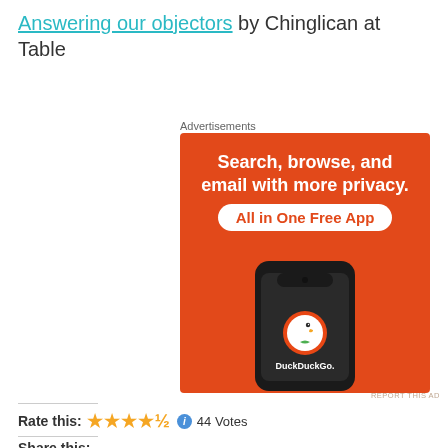Answering our objectors by Chinglican at Table
Advertisements
[Figure (photo): DuckDuckGo advertisement showing a smartphone with DuckDuckGo logo on orange background, text reads 'Search, browse, and email with more privacy. All in One Free App']
REPORT THIS AD
Rate this: ★★★★½  ⓘ  44 Votes
Share this: